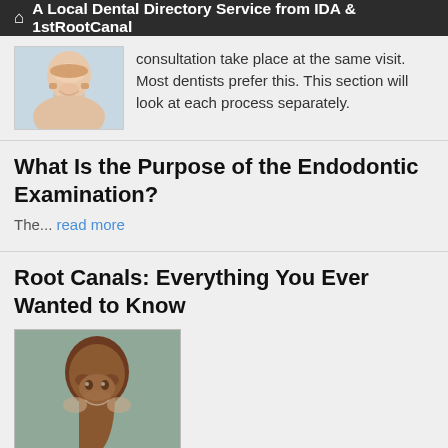🏠 A Local Dental Directory Service from IDA & 1stRootCanal
consultation take place at the same visit. Most dentists prefer this. This section will look at each process separately.
What Is the Purpose of the Endodontic Examination?
The... read more
Root Canals: Everything You Ever Wanted to Know
[Figure (photo): Portrait photo of a smiling woman with dark curly hair]
Why are root canals done?
Root canal therapy is required when the nerve of the tooth